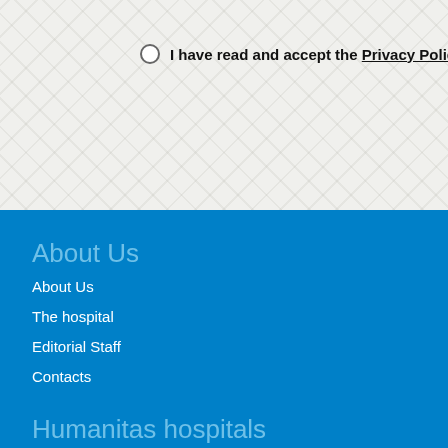I have read and accept the Privacy Policy
About Us
About Us
The hospital
Editorial Staff
Contacts
Humanitas hospitals
Humanitas Research Hospital
Humanitas Gavazzeni
Humanitas Mater Domini